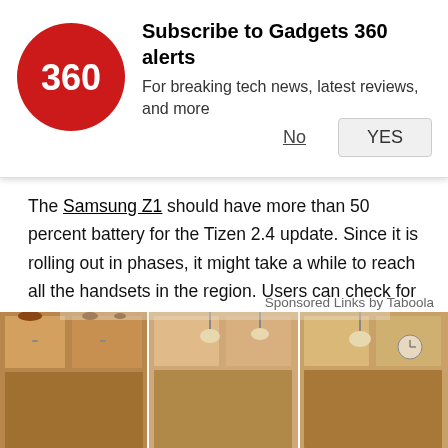[Figure (logo): Gadgets 360 red circle logo with '360' text in white]
Subscribe to Gadgets 360 alerts
For breaking tech news, latest reviews, and more
No   YES
The Samsung Z1 should have more than 50 percent battery for the Tizen 2.4 update. Since it is rolling out in phases, it might take a while to reach all the handsets in the region. Users can check for updates by going in to the Settings option, followed by About Device > Software Update > Update. The Tizen 2.4 update will be reaching Bangladesh, Nepal, and Sri Lanka in about a week.
Sponsored Links by Taboola
[Figure (photo): Kitchen interior photo showing wooden cabinets with pendant lights]